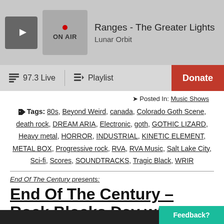Ranges - The Greater Lights | Lunar Orbit | ON AIR
97.3 Live | Playlist | Donate
Posted In: Music Shows
Tags: 80s, Beyond Weird, canada, Colorado Goth Scene, death rock, DREAM ARIA, Electronic, goth, GOTHIC LIZARD, Heavy metal, HORROR, INDUSTRIAL, KINETIC ELEMENT, METAL BOX, Progressive rock, RVA, RVA Music, Salt Lake City, Sci-fi, Scores, SOUNDTRACKS, Tragic Black, WRIR
End Of The Century presents:
End Of The Century – Rock Blocks Day w/ LJ!